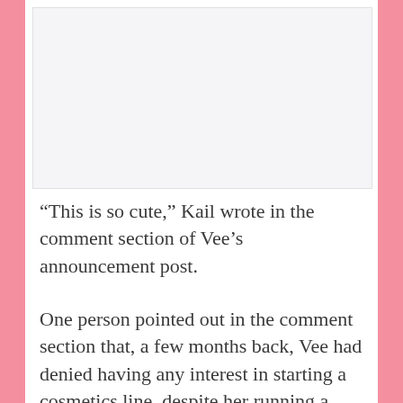[Figure (photo): Image placeholder area at the top of the article page, appears to be a faded/blank image area]
“This is so cute,” Kail wrote in the comment section of Vee’s announcement post.
One person pointed out in the comment section that, a few months back, Vee had denied having any interest in starting a cosmetics line, despite her running a